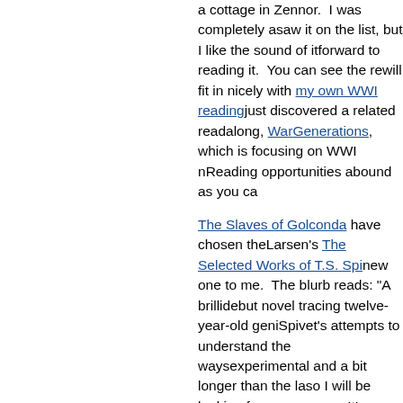a cottage in Zennor.  I was completely a... saw it on the list, but I like the sound of it... forward to reading it.  You can see the re... will fit in nicely with my own WWI reading... just discovered a related readalong, War... Generations, which is focusing on WWI ... Reading opportunities abound as you ca...
The Slaves of Golconda have chosen the... Larsen's The Selected Works of T.S. Spi... new one to me.  The blurb reads: "A brilli... debut novel tracing twelve-year-old geni... Spivet's attempts to understand the ways... experimental and a bit longer than the la... so I will be looking for a copy now.  It's g... something I hope to do more of in 2012.
And I have my next postal reading group... my reading pile.  I'll be reading this book... the secrecy but I don't want to ruin the su... other readers in the group).  I read the b... with quite a few others by the author, but... have picked up anything since.  It will be... revisit her work.